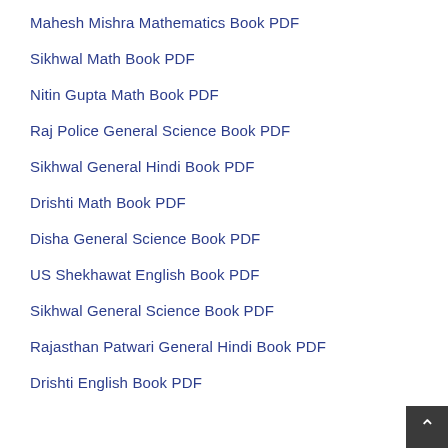Mahesh Mishra Mathematics Book PDF
Sikhwal Math Book PDF
Nitin Gupta Math Book PDF
Raj Police General Science Book PDF
Sikhwal General Hindi Book PDF
Drishti Math Book PDF
Disha General Science Book PDF
US Shekhawat English Book PDF
Sikhwal General Science Book PDF
Rajasthan Patwari General Hindi Book PDF
Drishti English Book PDF